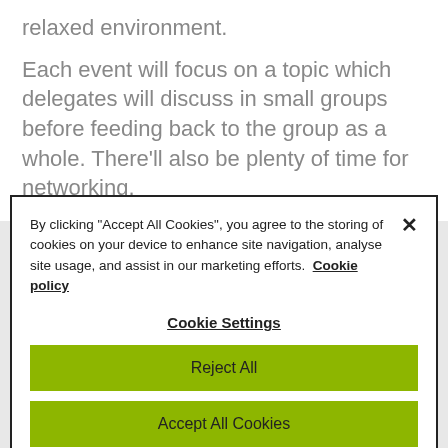relaxed environment.
Each event will focus on a topic which delegates will discuss in small groups before feeding back to the group as a whole. There'll also be plenty of time for networking.
By clicking "Accept All Cookies", you agree to the storing of cookies on your device to enhance site navigation, analyse site usage, and assist in our marketing efforts. Cookie policy
Cookie Settings
Reject All
Accept All Cookies